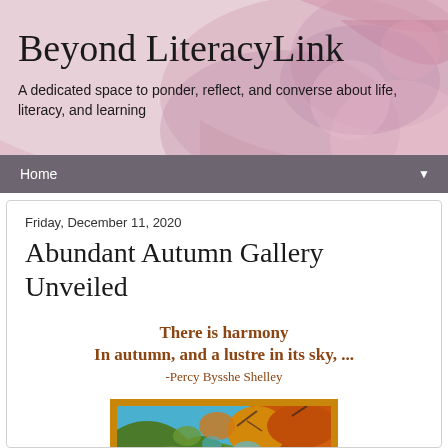Beyond LiteracyLink
A dedicated space to ponder, reflect, and converse about life, literacy, and learning
Home ▼
Friday, December 11, 2020
Abundant Autumn Gallery Unveiled
There is harmony
In autumn, and a lustre in its sky, ...
-Percy Bysshe Shelley
[Figure (photo): Autumn trees with colorful foliage against a bright blue sky, viewed from below. Orange, yellow and green leaves visible against the sky.]